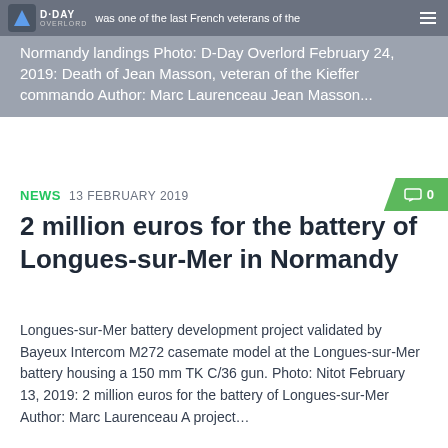D-Day Overlord — was one of the last French veterans of the Normandy landings Photo: D-Day Overlord February 24, 2019: Death of Jean Masson, veteran of the Kieffer commando Author: Marc Laurenceau Jean Masson...
NEWS 13 FEBRUARY 2019
2 million euros for the battery of Longues-sur-Mer in Normandy
Longues-sur-Mer battery development project validated by Bayeux Intercom M272 casemate model at the Longues-sur-Mer battery housing a 150 mm TK C/36 gun. Photo: Nitot February 13, 2019: 2 million euros for the battery of Longues-sur-Mer Author: Marc Laurenceau A project...